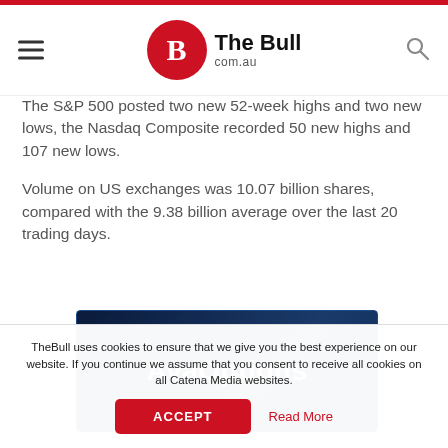The Bull com.au
The S&P 500 posted two new 52-week highs and two new lows, the Nasdaq Composite recorded 50 new highs and 107 new lows.
Volume on US exchanges was 10.07 billion shares, compared with the 9.38 billion average over the last 20 trading days.
[Figure (other): AvaOptions advertisement banner with dark blue gradient background and white bold text reading 'AvaOptions']
TheBull uses cookies to ensure that we give you the best experience on our website. If you continue we assume that you consent to receive all cookies on all Catena Media websites.